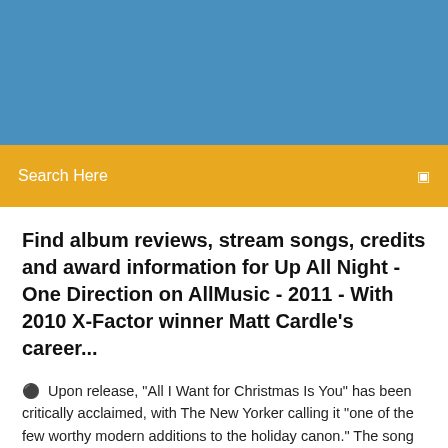[Figure (other): Blue header banner background]
Search Here
Find album reviews, stream songs, credits and award information for Up All Night - One Direction on AllMusic - 2011 - With 2010 X-Factor winner Matt Cardle's career...
Upon release, "All I Want for Christmas Is You" has been critically acclaimed, with The New Yorker calling it "one of the few worthy modern additions to the holiday canon." The song remains Carey's